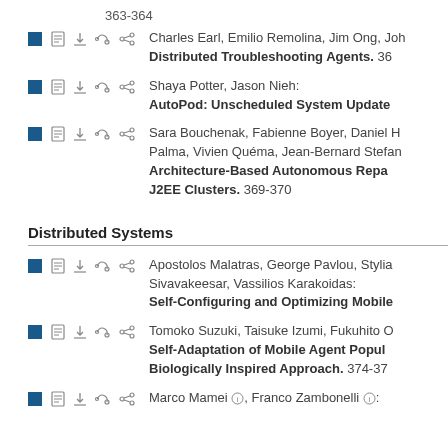363-364
Charles Earl, Emilio Remolina, Jim Ong, Joh... Distributed Troubleshooting Agents. 36...
Shaya Potter, Jason Nieh: AutoPod: Unscheduled System Update...
Sara Bouchenak, Fabienne Boyer, Daniel H... Palma, Vivien Quéma, Jean-Bernard Stefan... Architecture-Based Autonomous Repa... J2EE Clusters. 369-370
Distributed Systems
Apostolos Malatras, George Pavlou, Stylia... Sivavakeesar, Vassilios Karakoidas: Self-Configuring and Optimizing Mobile...
Tomoko Suzuki, Taisuke Izumi, Fukuhito O... Self-Adaptation of Mobile Agent Popul... Biologically Inspired Approach. 374-37
Marco Mamei, Franco Zambonelli: